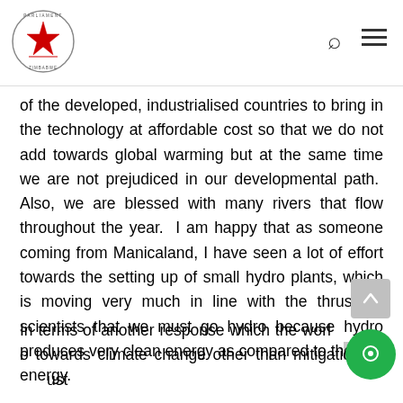Parliament of Zimbabwe
of the developed, industrialised countries to bring in the technology at affordable cost so that we do not add towards global warming but at the same time we are not prejudiced in our developmental path.  Also, we are blessed with many rivers that flow throughout the year.  I am happy that as someone coming from Manicaland, I have seen a lot of effort towards the setting up of small hydro plants, which is moving very much in line with the thrust by scientists that we must go hydro because hydro produces very clean energy as compared to thermal energy.
In terms of another response which the world … to towards climate change other than mitigation, we must …